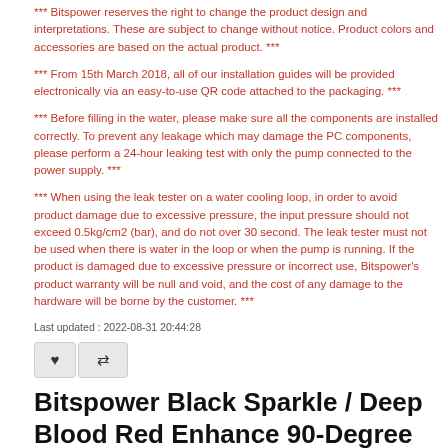*** Bitspower reserves the right to change the product design and interpretations. These are subject to change without notice. Product colors and accessories are based on the actual product. ***
*** From 15th March 2018, all of our installation guides will be provided electronically via an easy-to-use QR code attached to the packaging. ***
*** Before filling in the water, please make sure all the components are installed correctly. To prevent any leakage which may damage the PC components, please perform a 24-hour leaking test with only the pump connected to the power supply. ***
*** When using the leak tester on a water cooling loop, in order to avoid product damage due to excessive pressure, the input pressure should not exceed 0.5kg/cm2 (bar), and do not over 30 second. The leak tester must not be used when there is water in the loop or when the pump is running. If the product is damaged due to excessive pressure or incorrect use, Bitspower's product warranty will be null and void, and the cost of any damage to the hardware will be borne by the customer. ***
Last updated : 2022-08-31 20:44:28
[Figure (other): Heart/favorite button and compare button (icon buttons)]
Bitspower Black Sparkle / Deep Blood Red Enhance 90-Degree Dual